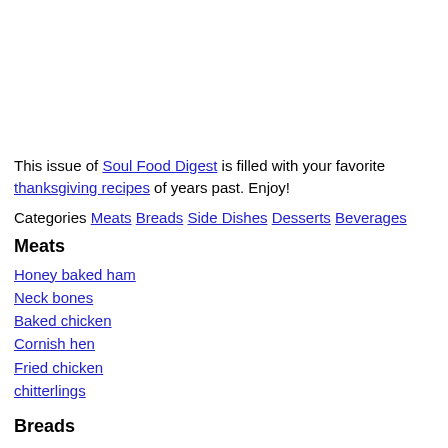This issue of Soul Food Digest is filled with your favorite thanksgiving recipes of years past. Enjoy!
Categories Meats Breads Side Dishes Desserts Beverages
Meats
Honey baked ham
Neck bones
Baked chicken
Cornish hen
Fried chicken
chitterlings
Breads